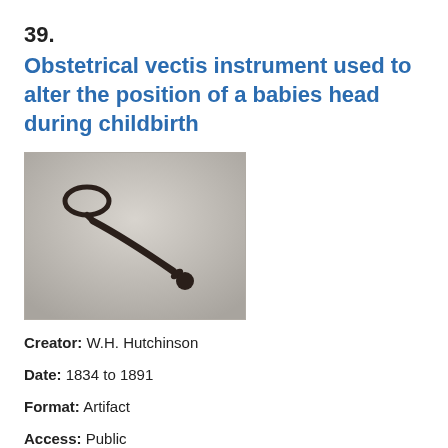39.
Obstetrical vectis instrument used to alter the position of a babies head during childbirth
[Figure (photo): Photograph of an obstetrical vectis instrument — a dark brown/black elongated tool with a loop handle at one end and a rounded ball tip at the other end, photographed on a light gray background.]
Creator: W.H. Hutchinson
Date: 1834 to 1891
Format: Artifact
Access: Public